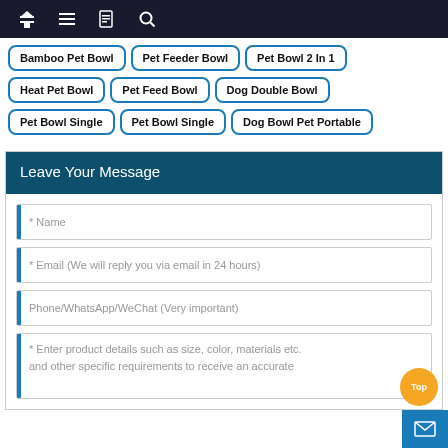Navigation bar with home, menu, book, search icons
Bamboo Pet Bowl
Pet Feeder Bowl
Pet Bowl 2 In 1
Heat Pet Bowl
Pet Feed Bowl
Dog Double Bowl
Pet Bowl Single
Pet Bowl Single
Dog Bowl Pet Portable
Leave Your Message
* Name
* Email (We will reply you via email in 24 hours)
Phone/WhatsApp/WeChat (Very important)
* Enter product details such as size, color, materials etc. and other specific requirements to receive an accurate quote.